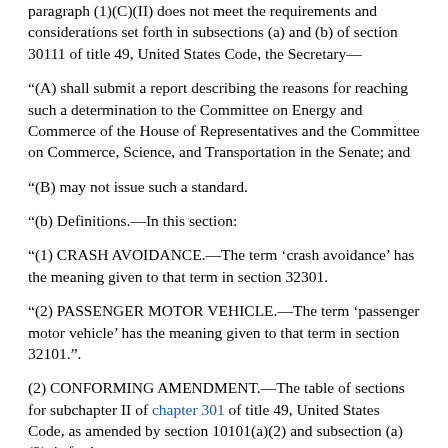paragraph (1)(C)(II) does not meet the requirements and considerations set forth in subsections (a) and (b) of section 30111 of title 49, United States Code, the Secretary—
"(A) shall submit a report describing the reasons for reaching such a determination to the Committee on Energy and Commerce of the House of Representatives and the Committee on Commerce, Science, and Transportation in the Senate; and
"(B) may not issue such a standard.
"(b) Definitions.—In this section:
"(1) CRASH AVOIDANCE.—The term 'crash avoidance' has the meaning given to that term in section 32301.
"(2) PASSENGER MOTOR VEHICLE.—The term 'passenger motor vehicle' has the meaning given to that term in section 32101.".
(2) CONFORMING AMENDMENT.—The table of sections for subchapter II of chapter 301 of title 49, United States Code, as amended by section 10101(a)(2) and subsection (a)(2), is further